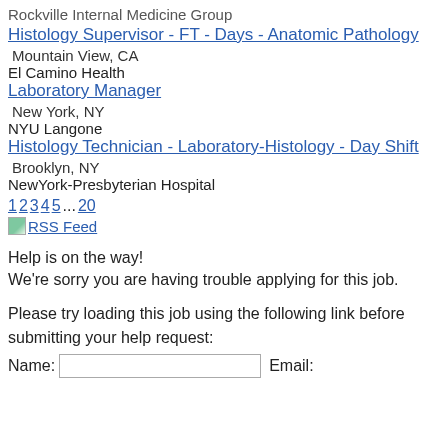Rockville Internal Medicine Group
Histology Supervisor - FT - Days - Anatomic Pathology
Mountain View, CA
El Camino Health
Laboratory Manager
New York, NY
NYU Langone
Histology Technician - Laboratory-Histology - Day Shift
Brooklyn, NY
NewYork-Presbyterian Hospital
1 2 3 4 5 ... 20
RSS Feed
Help is on the way!
We're sorry you are having trouble applying for this job.
Please try loading this job using the following link before submitting your help request:
Name:   Email: